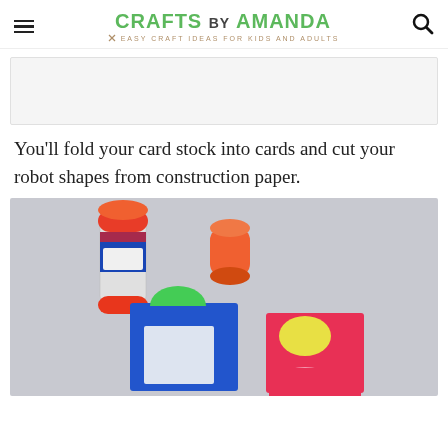CRAFTS BY AMANDA — EASY CRAFT IDEAS FOR KIDS AND ADULTS
[Figure (other): Advertisement placeholder banner]
You'll fold your card stock into cards and cut your robot shapes from construction paper.
[Figure (photo): Photo of a glue stick with its cap off and two colorful robot greeting cards made from construction paper — one blue with green and white shapes, one red/pink with yellow and pink shapes — on a gray surface.]